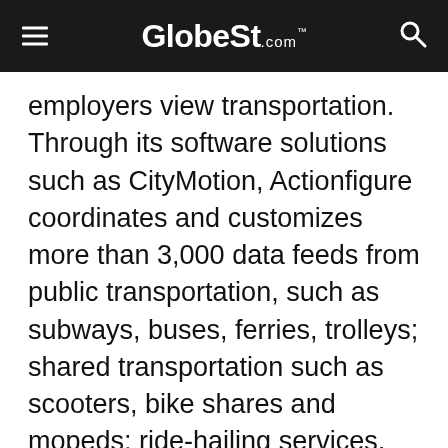GlobeSt.com
employers view transportation. Through its software solutions such as CityMotion, Actionfigure coordinates and customizes more than 3,000 data feeds from public transportation, such as subways, buses, ferries, trolleys; shared transportation such as scooters, bike shares and mopeds; ride-hailing services, such as Uber, Lyft and Via; and private transportation